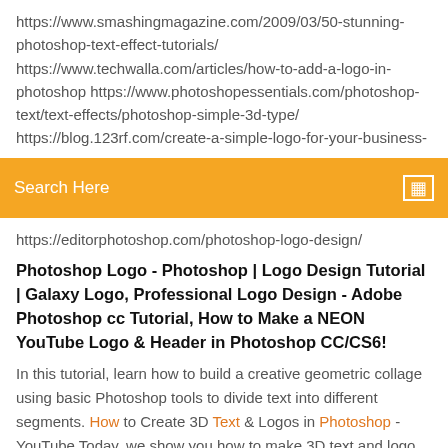https://www.smashingmagazine.com/2009/03/50-stunning-photoshop-text-effect-tutorials/ https://www.techwalla.com/articles/how-to-add-a-logo-in-photoshop https://www.photoshopessentials.com/photoshop-text/text-effects/photoshop-simple-3d-type/ https://blog.123rf.com/create-a-simple-logo-for-your-business-
Search Here
https://editorphotoshop.com/photoshop-logo-design/
Photoshop Logo - Photoshop | Logo Design Tutorial | Galaxy Logo, Professional Logo Design - Adobe Photoshop cc Tutorial, How to Make a NEON YouTube Logo & Header in Photoshop CC/CS6!
In this tutorial, learn how to build a creative geometric collage using basic Photoshop tools to divide text into different segments. How to Create 3D Text & Logos in Photoshop - YouTube Today, we show you how to make 3D text and logo